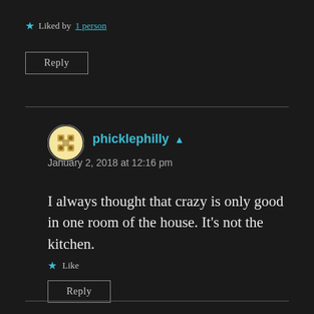★ Liked by 1 person
Reply
phicklephilly
January 2, 2018 at 12:16 pm
I always thought that crazy is only good in one room of the house. It's not the kitchen.
★ Like
Reply